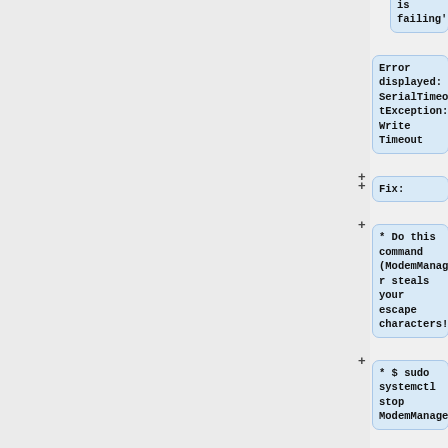is failing'''
Error displayed: SerialTimeoutException: Write Timeout
Fix:
* Do this command (ModemManager steals your escape characters!)
* $ sudo systemctl stop ModemManager